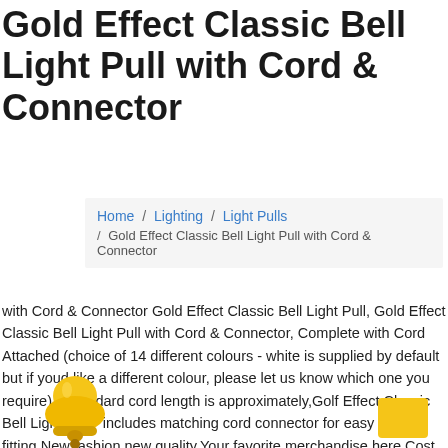Gold Effect Classic Bell Light Pull with Cord & Connector
Home / Lighting / Light Pulls / Gold Effect Classic Bell Light Pull with Cord & Connector
with Cord & Connector Gold Effect Classic Bell Light Pull, Gold Effect Classic Bell Light Pull with Cord & Connector, Complete with Cord Attached (choice of 14 different colours - white is supplied by default but if youd like a different colour, please let us know which one you require) – standard cord length is approximately,Golf Effect Classic Bell Light Pull - includes matching cord connector for easy fitting,New fashion new quality,Your favorite merchandise here,Cost less all the way,Online Best choice,Free shipping and free returns on all orders., Light Pull with Cord & Connector Gold Effect Classic Bell.
[Figure (illustration): Bell-shaped light pull illustration in gold/yellow color at bottom left]
[Figure (illustration): Yellow button/badge at bottom right]